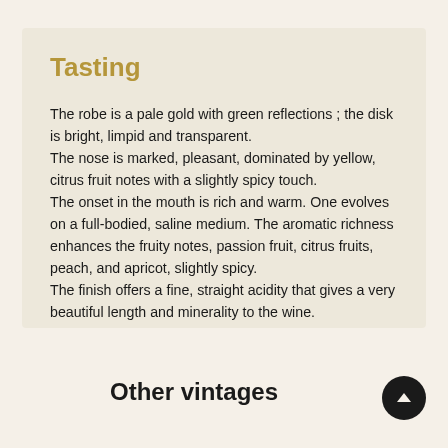Tasting
The robe is a pale gold with green reflections ; the disk is bright, limpid and transparent.
The nose is marked, pleasant, dominated by yellow, citrus fruit notes with a slightly spicy touch.
The onset in the mouth is rich and warm. One evolves on a full-bodied, saline medium. The aromatic richness enhances the fruity notes, passion fruit, citrus fruits, peach, and apricot, slightly spicy.
The finish offers a fine, straight acidity that gives a very beautiful length and minerality to the wine.
Other vintages